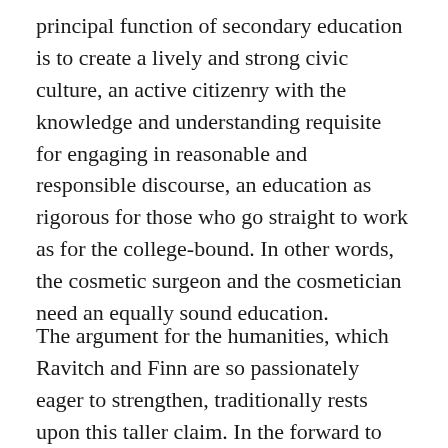principal function of secondary education is to create a lively and strong civic culture, an active citizenry with the knowledge and understanding requisite for engaging in reasonable and responsible discourse, an education as rigorous for those who go straight to work as for the college-bound. In other words, the cosmetic surgeon and the cosmetician need an equally sound education.
The argument for the humanities, which Ravitch and Finn are so passionately eager to strengthen, traditionally rests upon this taller claim. In the forward to What Do Our 17-Year-